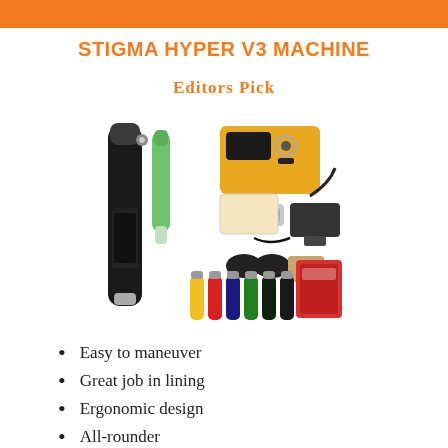STIGMA HYPER V3 MACHINE
Editors Pick
[Figure (photo): Product photo of Stigma Hyper V3 tattoo machine kit including the black pen-style tattoo machine, yellow power supply, green grip, ink bottles in multiple colors, gloves, practice skin, needles, and accessories.]
Easy to maneuver
Great job in lining
Ergonomic design
All-rounder